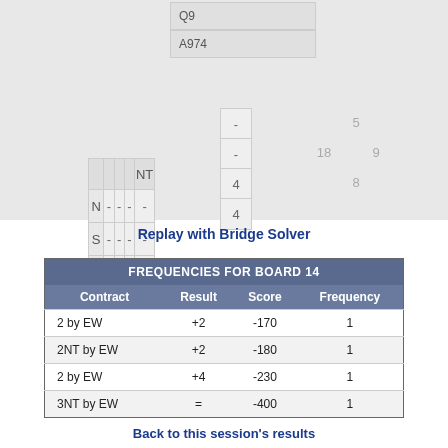|  |  |  |  | NT |
| --- | --- | --- | --- | --- |
| N | - | - | - | - | - |
| S | - | - | - | - | - |
| E | 4 | 6 | 2 | 5 | 4 |
| W | 4 | 6 | 2 | 5 | 4 |
Q9
A974
5
18
9
8
Replay with Bridge Solver
| Contract | Result | Score | Frequency |
| --- | --- | --- | --- |
| 2 by EW | +2 | -170 | 1 |
| 2NT by EW | +2 | -180 | 1 |
| 2 by EW | +4 | -230 | 1 |
| 3NT by EW | = | -400 | 1 |
Back to this session's results